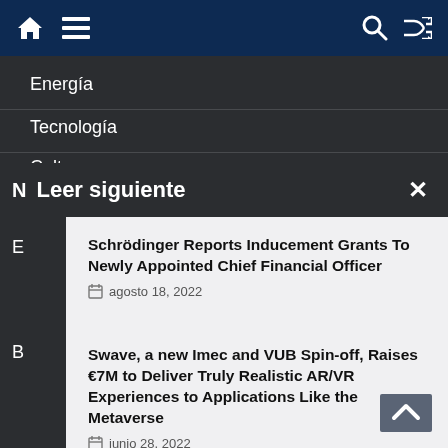Navigation bar with home, menu, search, and shuffle icons
Energía
Tecnología
Cultura
Leer siguiente
Schrödinger Reports Inducement Grants To Newly Appointed Chief Financial Officer
agosto 18, 2022
Swave, a new Imec and VUB Spin-off, Raises €7M to Deliver Truly Realistic AR/VR Experiences to Applications Like the Metaverse
junio 28, 2022